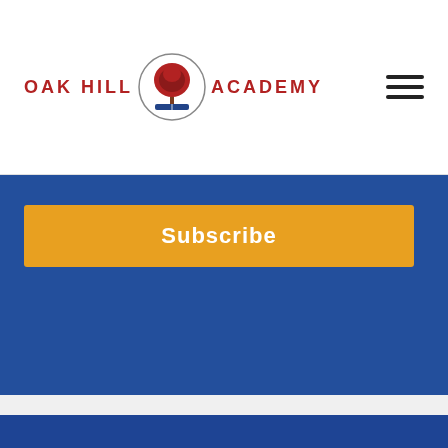[Figure (logo): Oak Hill Academy logo with red text and tree emblem]
Subscribe
[Figure (logo): OHA Oak Hill Academy white footer logo on blue background]
ABOUT
CONTACT
LOCATION
ACADEMICS
HOME
STUDENTS
TEACHERS
BLOG
NEWS
RESOURCES